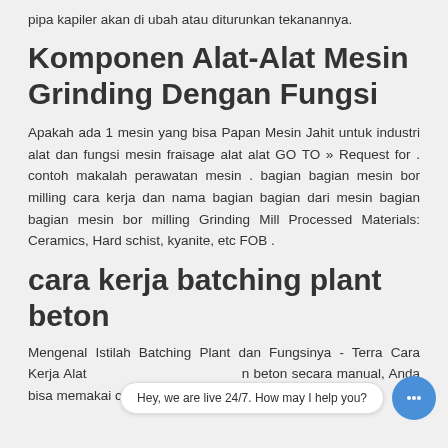pipa kapiler akan di ubah atau diturunkan tekanannya.
Komponen Alat-Alat Mesin Grinding Dengan Fungsi
Apakah ada 1 mesin yang bisa Papan Mesin Jahit untuk industri alat dan fungsi mesin fraisage alat alat GO TO » Request for . contoh makalah perawatan mesin . bagian bagian mesin bor milling cara kerja dan nama bagian bagian dari mesin bagian bagian mesin bor milling Grinding Mill Processed Materials: Ceramics, Hard schist, kyanite, etc FOB .
cara kerja batching plant beton
Mengenal Istilah Batching Plant dan Fungsinya - Terra Cara Kerja Alat n beton secara manual, Anda bisa memakai cangkul atau